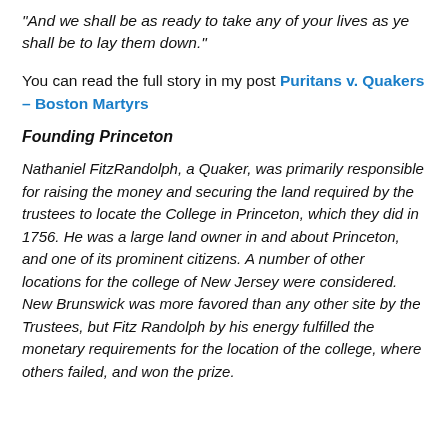"And we shall be as ready to take any of your lives as ye shall be to lay them down."
You can read the full story in my post Puritans v. Quakers – Boston Martyrs
Founding Princeton
Nathaniel FitzRandolph, a Quaker, was primarily responsible for raising the money and securing the land required by the trustees to locate the College in Princeton, which they did in 1756. He was a large land owner in and about Princeton, and one of its prominent citizens. A number of other locations for the college of New Jersey were considered. New Brunswick was more favored than any other site by the Trustees, but Fitz Randolph by his energy fulfilled the monetary requirements for the location of the college, where others failed, and won the prize.